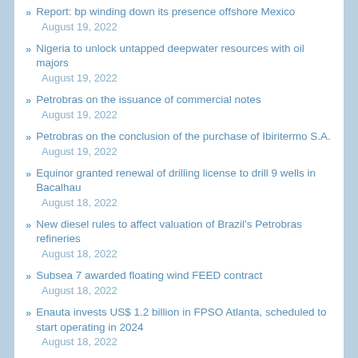Report: bp winding down its presence offshore Mexico  August 19, 2022
Nigeria to unlock untapped deepwater resources with oil majors  August 19, 2022
Petrobras on the issuance of commercial notes  August 19, 2022
Petrobras on the conclusion of the purchase of Ibiritermo S.A.  August 19, 2022
Equinor granted renewal of drilling license to drill 9 wells in Bacalhau  August 18, 2022
New diesel rules to affect valuation of Brazil's Petrobras refineries  August 18, 2022
Subsea 7 awarded floating wind FEED contract  August 18, 2022
Enauta invests US$ 1.2 billion in FPSO Atlanta, scheduled to start operating in 2024  August 18, 2022
Petrobras receives operating license for Rota 3  August 18, 2022
Back to the drawing board: Reinventing offshore wind turbines  August 18, 2022